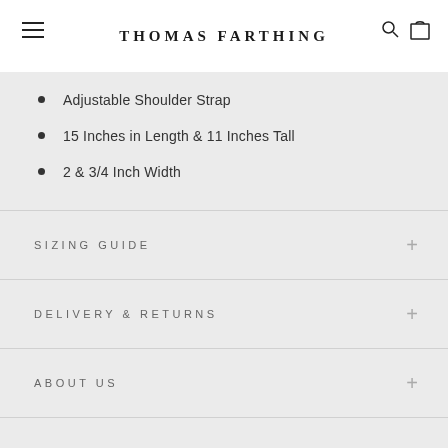THOMAS FARTHING
Adjustable Shoulder Strap
15 Inches in Length & 11 Inches Tall
2 & 3/4 Inch Width
SIZING GUIDE
DELIVERY & RETURNS
ABOUT US